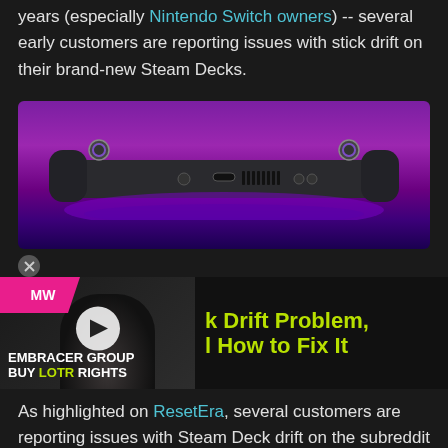years (especially Nintendo Switch owners) -- several early customers are reporting issues with stick drift on their brand-new Steam Decks.
[Figure (photo): Steam Deck handheld gaming device shown from the back/bottom edge against a purple/magenta glowing background]
[Figure (screenshot): Advertisement overlay: MNext World logo, video thumbnail with play button showing a person's face, text reading 'k Drift Problem, l How to Fix It' in green, and 'EMBRACER GROUP BUY LOTR RIGHTS' at bottom]
As highlighted on ResetEra, several customers are reporting issues with Steam Deck drift on the subreddit for the handheld